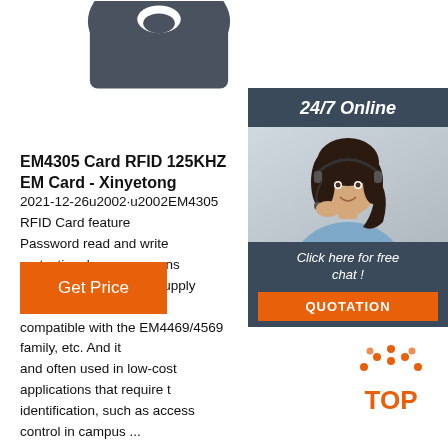[Figure (photo): Dark grey RFID card product image partially visible at top center]
[Figure (photo): Customer service widget with 24/7 Online heading, woman with headset photo, click here for free chat text, and QUOTATION button]
EM4305 Card RFID 125KHZ EM Card - Xinyetong
2021-12-26u2002·u2002EM4305 RFID Card features Password read and write protection, low power cons EEPROM, no external supply buffer capacitor neede compatible with the EM4469/4569 family, etc. And it and often used in low-cost applications that require t identification, such as access control in campus ...
[Figure (illustration): Orange Get Price button]
[Figure (logo): TOP logo with orange dot pattern above the word TOP in orange]